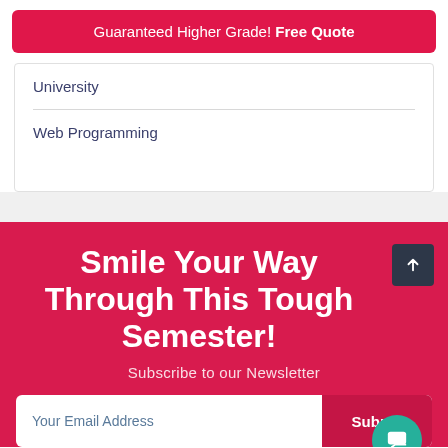Guaranteed Higher Grade! Free Quote
University
Web Programming
Smile Your Way Through This Tough Semester!
Subscribe to our Newsletter
Your Email Address
Submit